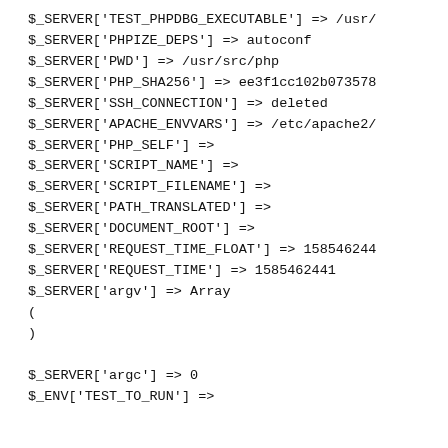$_SERVER['TEST_PHPDBG_EXECUTABLE'] => /usr/
$_SERVER['PHPIZE_DEPS'] => autoconf
$_SERVER['PWD'] => /usr/src/php
$_SERVER['PHP_SHA256'] => ee3f1cc102b073578
$_SERVER['SSH_CONNECTION'] => deleted
$_SERVER['APACHE_ENVVARS'] => /etc/apache2/
$_SERVER['PHP_SELF'] =>
$_SERVER['SCRIPT_NAME'] =>
$_SERVER['SCRIPT_FILENAME'] =>
$_SERVER['PATH_TRANSLATED'] =>
$_SERVER['DOCUMENT_ROOT'] =>
$_SERVER['REQUEST_TIME_FLOAT'] => 158546244
$_SERVER['REQUEST_TIME'] => 1585462441
$_SERVER['argv'] => Array
(
)

$_SERVER['argc'] => 0
$_ENV['TEST_TO_RUN'] =>